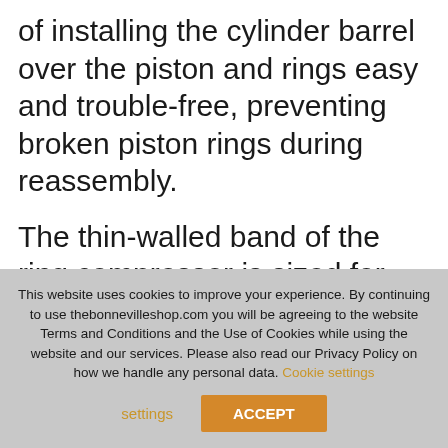of installing the cylinder barrel over the piston and rings easy and trouble-free, preventing broken piston rings during reassembly.
The thin-walled band of the ring compressor is sized for use with 65-70mm pistons, as used on BSA B25 and Triumph
This website uses cookies to improve your experience. By continuing to use thebonnevilleshop.com you will be agreeing to the website Terms and Conditions and the Use of Cookies while using the website and our services. Please also read our Privacy Policy on how we handle any personal data. Cookie settings ACCEPT